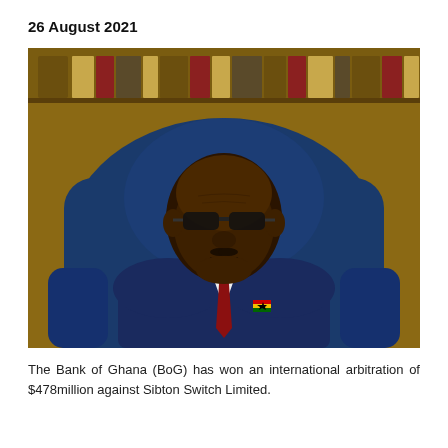26 August 2021
[Figure (photo): Portrait photograph of a Black man in a navy blue suit with a red tie and Ghana flag lapel pin, seated in a blue leather executive chair, with wood shelving visible in the background.]
The Bank of Ghana (BoG) has won an international arbitration of $478million against Sibton Switch Limited.